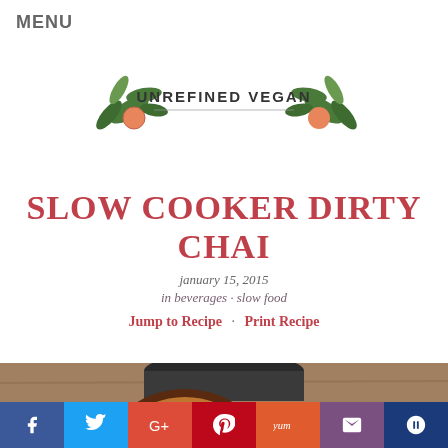MENU
[Figure (logo): Unrefined Vegan logo with floral/botanical illustration flanking text 'UNREFINED VEGAN']
SLOW COOKER DIRTY CHAI
january 15, 2015
in beverages · slow food
Jump to Recipe · Print Recipe
[Figure (photo): Photo of slow cooker dirty chai with a round badge overlay reading 'SLOW COOKER dirty chai']
Social share bar: Facebook, Twitter, Google+, Pinterest, Yummly, Email, Crown